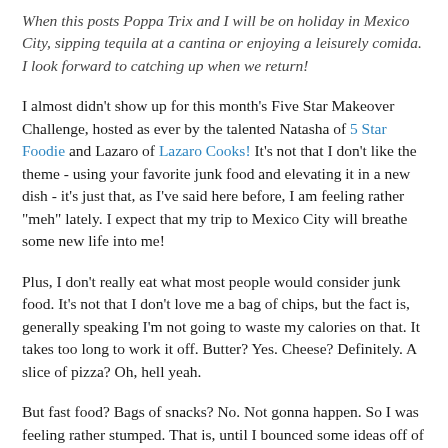When this posts Poppa Trix and I will be on holiday in Mexico City, sipping tequila at a cantina or enjoying a leisurely comida.  I look forward to catching up when we return!
I almost didn't show up for this month's Five Star Makeover Challenge, hosted as ever by the talented Natasha of 5 Star Foodie and Lazaro of Lazaro Cooks! It's not that I don't like the theme - using your favorite junk food and elevating it in a new dish - it's just that, as I've said here before, I am feeling rather "meh" lately. I expect that my trip to Mexico City will breathe some new life into me!
Plus, I don't really eat what most people would consider junk food. It's not that I don't love me a bag of chips, but the fact is, generally speaking I'm not going to waste my calories on that. It takes too long to work it off. Butter? Yes. Cheese? Definitely. A slice of pizza? Oh, hell yeah.
But fast food? Bags of snacks? No. Not gonna happen. So I was feeling rather stumped. That is, until I bounced some ideas off of my good friend Trevor of Sis Boom Blog. Do you